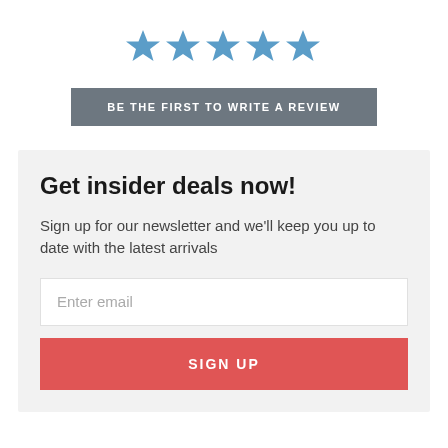[Figure (other): Five blue star icons in a row representing a rating system]
BE THE FIRST TO WRITE A REVIEW
Get insider deals now!
Sign up for our newsletter and we'll keep you up to date with the latest arrivals
Enter email
SIGN UP